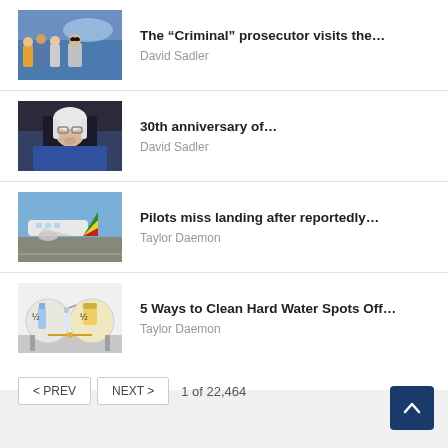The “Criminal” prosecutor visits the... — David Sadler
30th anniversary of... — David Sadler
Pilots miss landing after reportedly... — Taylor Daemon
5 Ways to Clean Hard Water Spots Off... — Taylor Daemon
< PREV   NEXT >   1 of 22,464